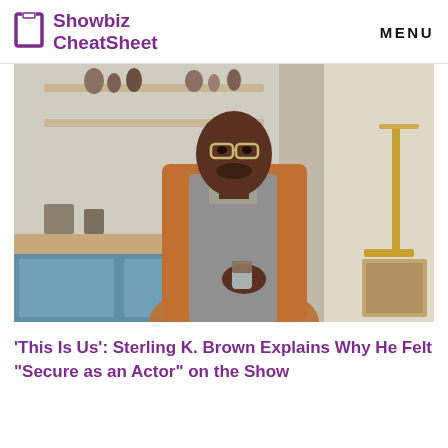Showbiz CheatSheet   MENU
[Figure (photo): A man wearing orange blazer and glasses standing in a kitchen holding a glass, with shelves and kitchen equipment in the background]
'This Is Us': Sterling K. Brown Explains Why He Felt "Secure as an Actor" on the Show